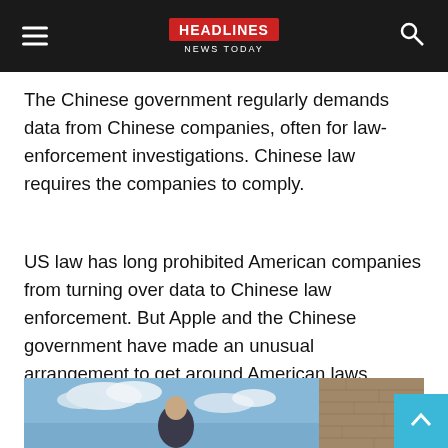HEADLINES News Today
The Chinese government regularly demands data from Chinese companies, often for law-enforcement investigations. Chinese law requires the companies to comply.
US law has long prohibited American companies from turning over data to Chinese law enforcement. But Apple and the Chinese government have made an unusual arrangement to get around American laws.
[Figure (photo): A man in a dark suit stands outdoors against a sky with clouds and a brick building visible to the right.]